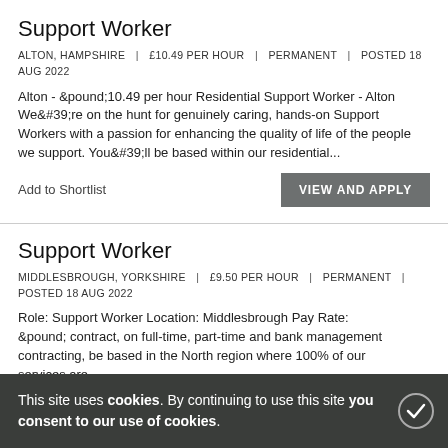Support Worker
ALTON, HAMPSHIRE | £10.49 PER HOUR | PERMANENT | POSTED 18 AUG 2022
Alton - &pound;10.49 per hour Residential Support Worker - Alton We&#39;re on the hunt for genuinely caring, hands-on Support Workers with a passion for enhancing the quality of life of the people we support. You&#39;ll be based within our residential...
Add to Shortlist
VIEW AND APPLY
Support Worker
MIDDLESBROUGH, YORKSHIRE | £9.50 PER HOUR | PERMANENT | POSTED 18 AUG 2022
Role: Support Worker Location: Middlesbrough Pay Rate: &pound; contract, on full-time, part-time and bank management contracting, be based in the North region where 100% of our services are.
This site uses cookies. By continuing to use this site you consent to our use of cookies.